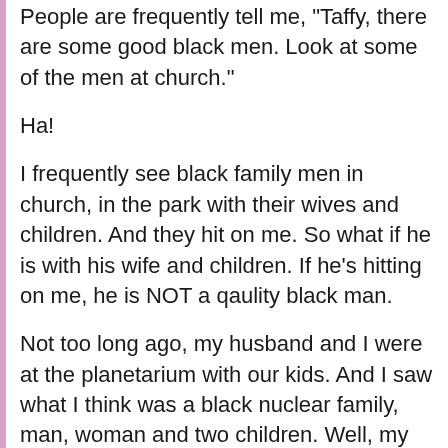People are frequently tell me, "Taffy, there are some good black men. Look at some of the men at church."
Ha!
I frequently see black family men in church, in the park with their wives and children. And they hit on me. So what if he is with his wife and children. If he's hitting on me, he is NOT a qaulity black man.
Not too long ago, my husband and I were at the planetarium with our kids. And I saw what I think was a black nuclear family, man, woman and two children. Well, my husband took the kids to the snack bar to get some juice. While they were gone, the male component of the nuclear family approached me. "How ya doing?" he said, cutting his eyes to make sure he wasn't being